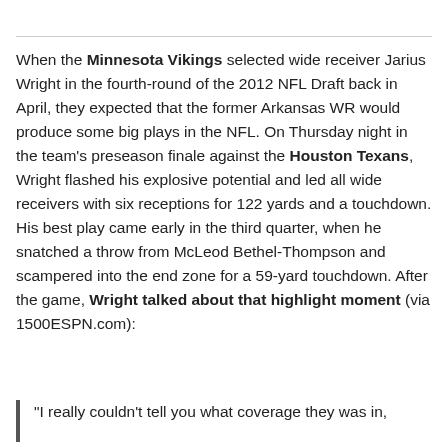When the Minnesota Vikings selected wide receiver Jarius Wright in the fourth-round of the 2012 NFL Draft back in April, they expected that the former Arkansas WR would produce some big plays in the NFL. On Thursday night in the team's preseason finale against the Houston Texans, Wright flashed his explosive potential and led all wide receivers with six receptions for 122 yards and a touchdown. His best play came early in the third quarter, when he snatched a throw from McLeod Bethel-Thompson and scampered into the end zone for a 59-yard touchdown. After the game, Wright talked about that highlight moment (via 1500ESPN.com):
"I really couldn't tell you what coverage they was in,